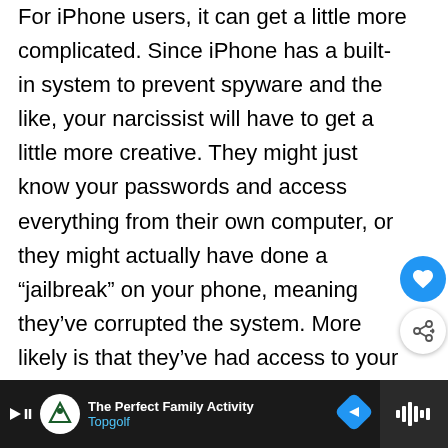For iPhone users, it can get a little more complicated. Since iPhone has a built-in system to prevent spyware and the like, your narcissist will have to get a little more creative. They might just know your passwords and access everything from their own computer, or they might actually have done a “jailbreak” on your phone, meaning they’ve corrupted the system. More likely is that they’ve had access to your phone or account and have secretly installed something to track you or listen in. This could be easily figured out by reviewing your
[Figure (other): UI overlay elements: gray scroll-up button with upward chevron, blue circular heart/like button, white circular share button with plus icon]
[Figure (other): Advertisement bar at the bottom of the screen for Topgolf - The Perfect Family Activity, with Topgolf logo, blue navigation arrow icon, and a dark right-side panel with audio waveform icon]